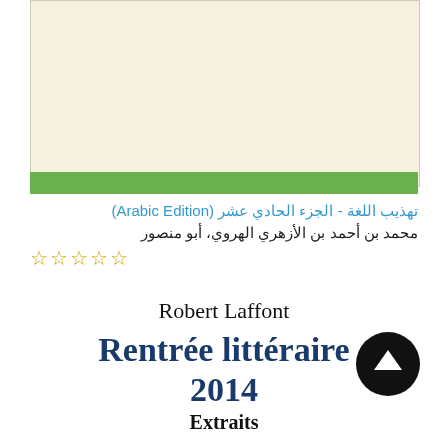[Figure (illustration): Book cover with cream/beige background and green stripe at bottom]
تهذيب اللغة - الجزء الحادي عشر (Arabic Edition)
محمد بن أحمد بن الأزهري الهروي، أبو منصور
☆☆☆☆☆
Robert Laffont
Rentrée littéraire 2014
Extraits